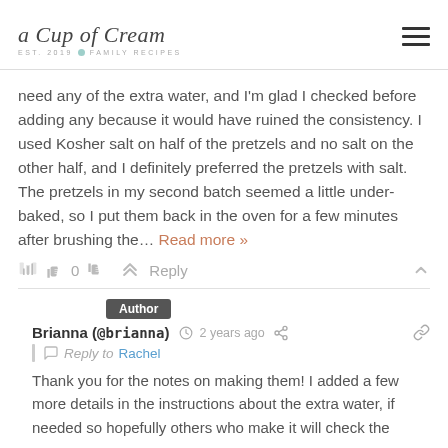A Cup of Cream — Est. 2019 · Family Recipes
need any of the extra water, and I'm glad I checked before adding any because it would have ruined the consistency. I used Kosher salt on half of the pretzels and no salt on the other half, and I definitely preferred the pretzels with salt. The pretzels in my second batch seemed a little under-baked, so I put them back in the oven for a few minutes after brushing the... Read more »
0  Reply
Author
Brianna (@brianna) ⏱ 2 years ago  Reply to Rachel
Thank you for the notes on making them! I added a few more details in the instructions about the extra water, if needed so hopefully others who make it will check the